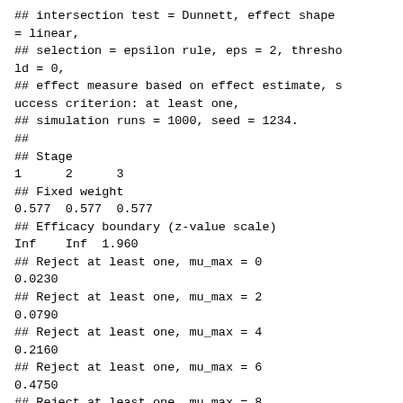## intersection test = Dunnett, effect shape = linear,
## selection = epsilon rule, eps = 2, threshold = 0,
## effect measure based on effect estimate, success criterion: at least one,
## simulation runs = 1000, seed = 1234.
##
## Stage
1      2      3
## Fixed weight
0.577  0.577  0.577
## Efficacy boundary (z-value scale)
Inf    Inf  1.960
## Reject at least one, mu_max = 0
0.0230
## Reject at least one, mu_max = 2
0.0790
## Reject at least one, mu_max = 4
0.2160
## Reject at least one, mu_max = 6
0.4750
## Reject at least one, mu_max = 8
0.7200
## Reject at least one, mu_max = 10